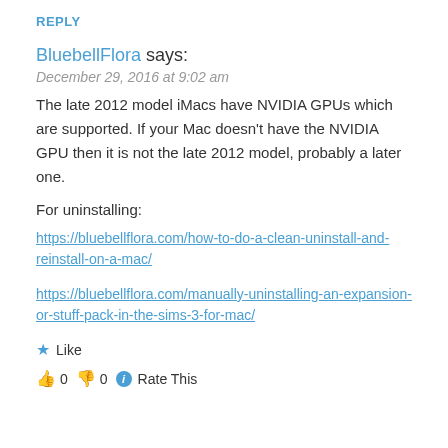REPLY
BluebellFlora says:
December 29, 2016 at 9:02 am
The late 2012 model iMacs have NVIDIA GPUs which are supported. If your Mac doesn't have the NVIDIA GPU then it is not the late 2012 model, probably a later one.
For uninstalling:
https://bluebellflora.com/how-to-do-a-clean-uninstall-and-reinstall-on-a-mac/
https://bluebellflora.com/manually-uninstalling-an-expansion-or-stuff-pack-in-the-sims-3-for-mac/
Like
0  0  Rate This